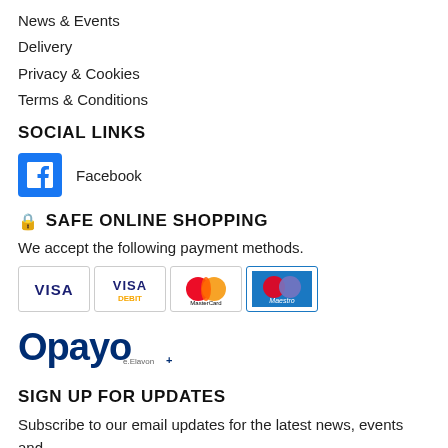News & Events
Delivery
Privacy & Cookies
Terms & Conditions
SOCIAL LINKS
Facebook
🔒 SAFE ONLINE SHOPPING
We accept the following payment methods.
[Figure (logo): Payment method logos: Visa, Visa Debit, Mastercard, Maestro]
[Figure (logo): Opayo by Elavon payment processor logo]
SIGN UP FOR UPDATES
Subscribe to our email updates for the latest news, events and